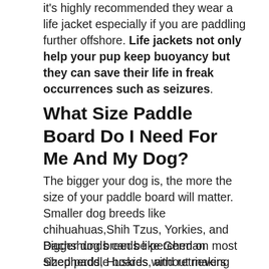it's highly recommended they wear a life jacket especially if you are paddling further offshore. Life jackets not only help your pup keep buoyancy but they can save their life in freak occurrences such as seizures.
What Size Paddle Board Do I Need For Me And My Dog?
The bigger your dog is, the more the size of your paddle board will matter. Smaller dog breeds like chihuahuas,Shih Tzus, Yorkies, and Dachshunds can be perched on most sized paddle boards without making any impact on balance.
Bigger dog breeds like German Shepherds, Huskies, and retrievers have to be more mindful of what kind of paddle board you get. For bigger...